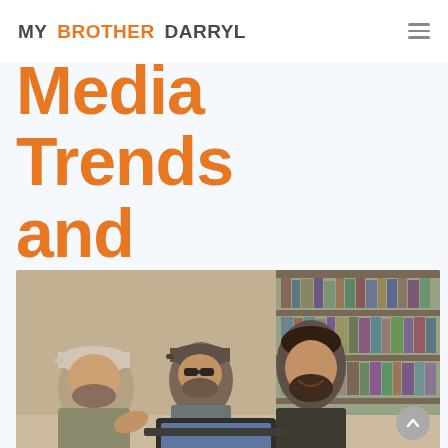MY BROTHER DARRYL
Media Trends and Predictions
[Figure (photo): Three men gathered around a laptop in a library, laughing and pointing at the screen. Bookshelves filled with books in the background.]